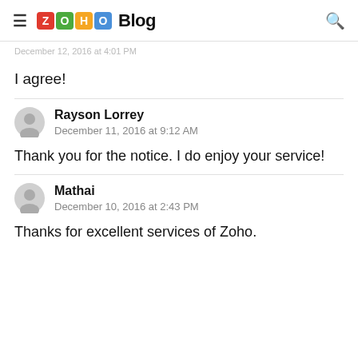Zoho Blog
December 12, 2016 at 4:01 PM
I agree!
Rayson Lorrey
December 11, 2016 at 9:12 AM
Thank you for the notice. I do enjoy your service!
Mathai
December 10, 2016 at 2:43 PM
Thanks for excellent services of Zoho.